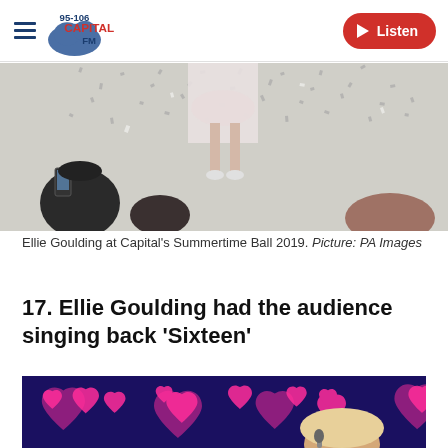Capital FM 95-106 | Listen
[Figure (photo): Ellie Goulding on stage at Capital's Summertime Ball 2019, with confetti falling and audience members photographing in the foreground]
Ellie Goulding at Capital's Summertime Ball 2019. Picture: PA Images
17. Ellie Goulding had the audience singing back 'Sixteen'
[Figure (photo): Ellie Goulding performing on stage with pink heart-shaped bokeh lights in the background]